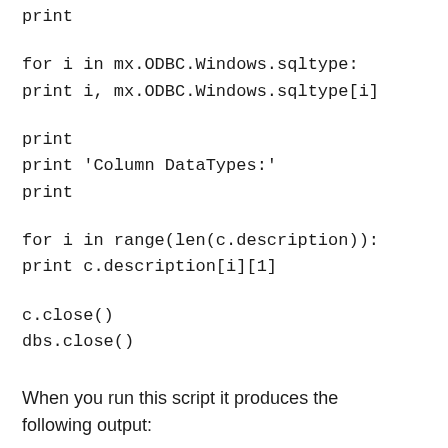print
for i in mx.ODBC.Windows.sqltype:
print i, mx.ODBC.Windows.sqltype[i]
print
print 'Column DataTypes:'
print
for i in range(len(c.description)):
print c.description[i][1]
c.close()
dbs.close()
When you run this script it produces the following output: